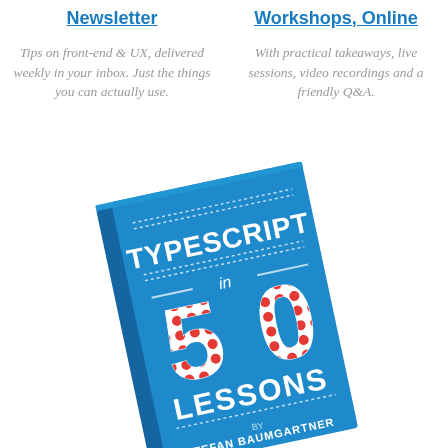Newsletter
Tips on front-end & UX, delivered weekly in your inbox. Just the things you can actually use.
Workshops, Online
With practical takeaways, live sessions, video recordings and a friendly Q&A.
[Figure (photo): A blue book titled 'TypeScript in 50 Lessons' by Stefan Baumgartner, shown at a slight angle. The cover features large white text and red polka-dot '50' numbers on a bright blue background.]